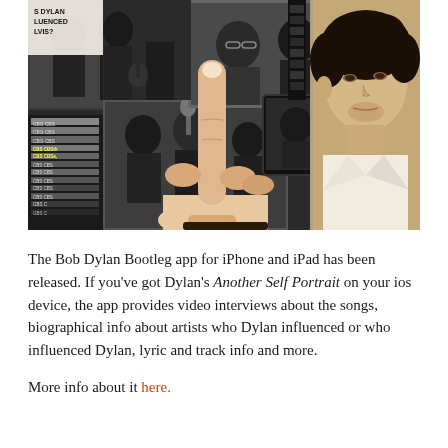[Figure (photo): A collage of black-and-white photos related to Bob Dylan, showing musicians in a studio, recording equipment, CBS tape boxes, and a large portrait of a young man (Dylan) on the right side. A hand with an extended index finger points at a touchscreen displaying one of the photos.]
The Bob Dylan Bootleg app for iPhone and iPad has been released. If you've got Dylan's Another Self Portrait on your ios device, the app provides video interviews about the songs, biographical info about artists who Dylan influenced or who influenced Dylan, lyric and track info and more.
More info about it here.